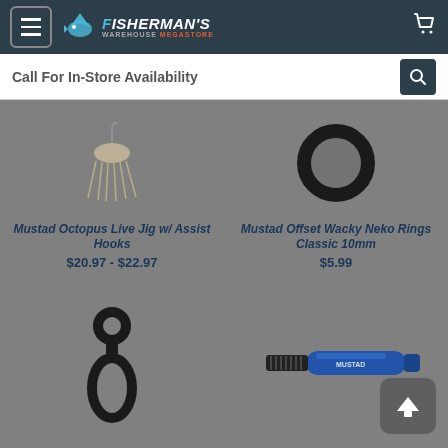[Figure (screenshot): Fisherman's Warehouse Megastore website header with menu button, logo, and cart icon on dark teal background]
Call For In-Store Availability
[Figure (photo): Mustad Octopus Live Jig w/ Assist Hooks product image - fishing lure with tentacle strands]
Mustad Octopus Live Jig w/ Assist Hooks
$20.97 - $22.97
[Figure (photo): Mustad Offset Wacky Neko Rings Classic 10mm product image - black rubber ring]
Mustad Offset Wacky Neko Rings Classic 10mm
$5.99
[Figure (photo): Black double-loop fishing rig or ring product]
[Figure (photo): Blue metal fishing tool/hook sharpener by Mustad]